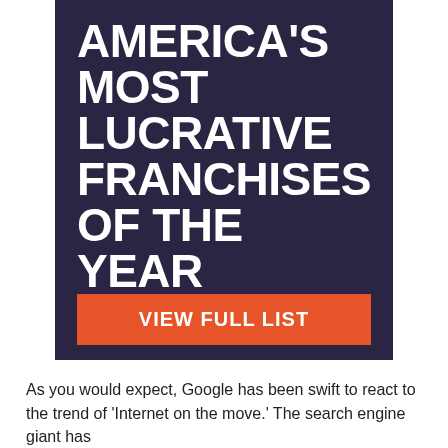[Figure (other): Dark purple advertisement banner with large white bold text reading 'AMERICA'S MOST LUCRATIVE FRANCHISES OF THE YEAR' and an orange button labeled 'VIEW FULL LIST']
As you would expect, Google has been swift to react to the trend of 'Internet on the move.' The search engine giant has